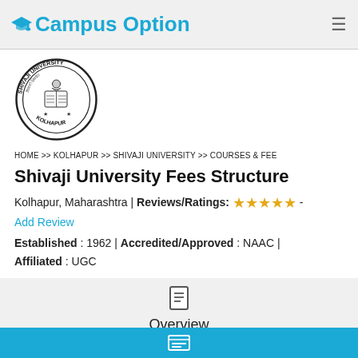Campus Option
[Figure (logo): Shivaji University Kolhapur circular seal/logo with text around the border and an emblem in the center]
HOME >> KOLHAPUR >> SHIVAJI UNIVERSITY >> COURSES & FEE
Shivaji University Fees Structure
Kolhapur, Maharashtra | Reviews/Ratings: ★★★★★ - Add Review
Established : 1962 | Accredited/Approved : NAAC | Affiliated : UGC
Overview